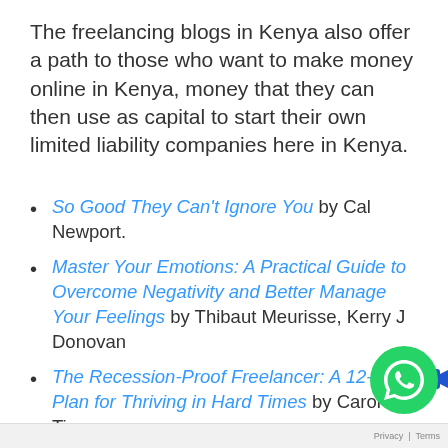The freelancing blogs in Kenya also offer a path to those who want to make money online in Kenya, money that they can then use as capital to start their own limited liability companies here in Kenya.
So Good They Can't Ignore You by Cal Newport.
Master Your Emotions: A Practical Guide to Overcome Negativity and Better Manage Your Feelings by Thibaut Meurisse, Kerry J Donovan
The Recession-Proof Freelancer: A 12-Point Plan for Thriving in Hard Times by Carol Tice.